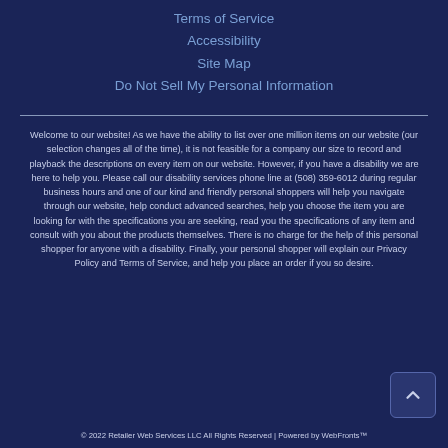Terms of Service
Accessibility
Site Map
Do Not Sell My Personal Information
Welcome to our website! As we have the ability to list over one million items on our website (our selection changes all of the time), it is not feasible for a company our size to record and playback the descriptions on every item on our website. However, if you have a disability we are here to help you. Please call our disability services phone line at (508) 359-6012 during regular business hours and one of our kind and friendly personal shoppers will help you navigate through our website, help conduct advanced searches, help you choose the item you are looking for with the specifications you are seeking, read you the specifications of any item and consult with you about the products themselves. There is no charge for the help of this personal shopper for anyone with a disability. Finally, your personal shopper will explain our Privacy Policy and Terms of Service, and help you place an order if you so desire.
© 2022 Retailer Web Services LLC All Rights Reserved | Powered by WebFronts™